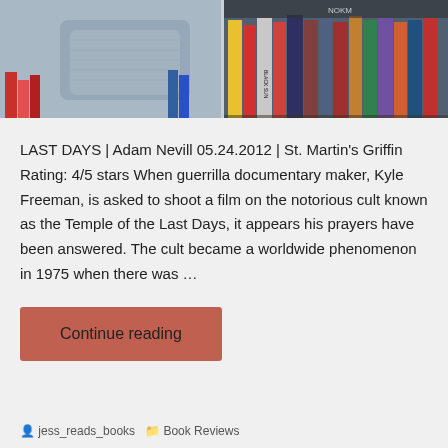[Figure (photo): Two-part photo: left side shows a hand holding a book wearing a grey knit sweater with bookshelves in the background; right side shows a row of colorful book spines on a shelf including titles like Black Sun.]
LAST DAYS | Adam Nevill 05.24.2012 | St. Martin's Griffin Rating: 4/5 stars When guerrilla documentary maker, Kyle Freeman, is asked to shoot a film on the notorious cult known as the Temple of the Last Days, it appears his prayers have been answered. The cult became a worldwide phenomenon in 1975 when there was …
Continue reading
jess_reads_books   Book Reviews